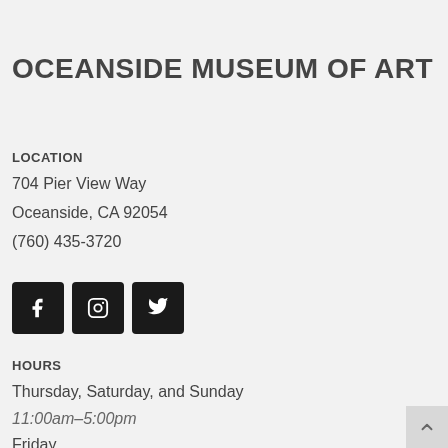OCEANSIDE MUSEUM OF ART
LOCATION
704 Pier View Way
Oceanside, CA 92054
(760) 435-3720
[Figure (infographic): Three social media icon buttons: Facebook (f), Instagram (camera), Twitter (bird), each in a black rounded square]
HOURS
Thursday, Saturday, and Sunday
11:00am–5:00pm
Friday
11:00am–8:00pm